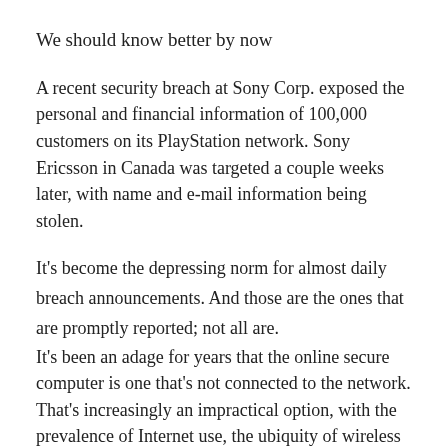We should know better by now
A recent security breach at Sony Corp. exposed the personal and financial information of 100,000 customers on its PlayStation network. Sony Ericsson in Canada was targeted a couple weeks later, with name and e-mail information being stolen.
It’s become the depressing norm for almost daily breach announcements. And those are the ones that are promptly reported; not all are.
It’s been an adage for years that the online secure computer is one that’s not connected to the network. That’s increasingly an impractical option, with the prevalence of Internet use, the ubiquity of wireless data coverage and the increasing trend to move applications to the Web. There are criminals out there